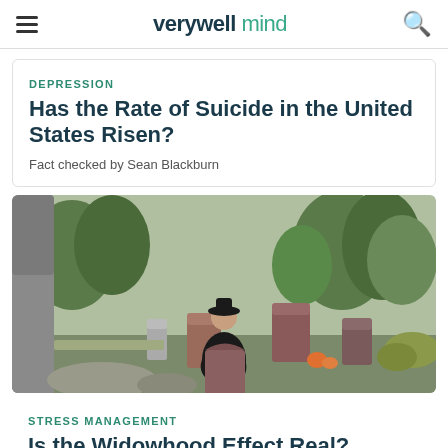verywell mind
DEPRESSION
Has the Rate of Suicide in the United States Risen?
Fact checked by Sean Blackburn
[Figure (photo): A person dressed in black mourning clothes kneeling at a gravestone in a cemetery, surrounded by trees and other gravestones.]
STRESS MANAGEMENT
Is the Widowhood Effect Real?